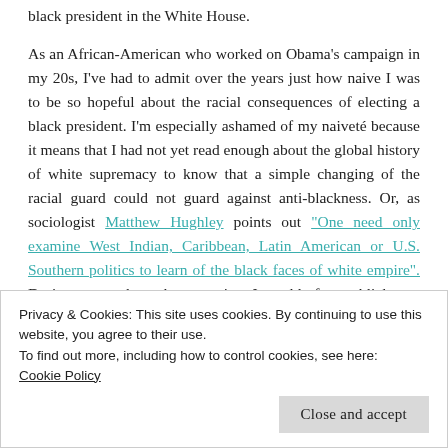...what is new, however, is feeling like I’ll go down with a black president in the White House.
As an African-American who worked on Obama’s campaign in my 20s, I’ve had to admit over the years just how naive I was to be so hopeful about the racial consequences of electing a black president. I’m especially ashamed of my naïveté because it means that I had not yet read enough about the global history of white supremacy to know that a simple changing of the racial guard could not guard against anti-blackness. Or, as sociologist Matthew Hughley points out “One need only examine West Indian, Caribbean, Latin American or U.S. Southern politics to learn of the black faces of white empire”. During my work on the campaign, I would often publicly say that race relations would not radically change if Obama was elected.
Privacy & Cookies: This site uses cookies. By continuing to use this website, you agree to their use.
To find out more, including how to control cookies, see here: Cookie Policy
Close and accept